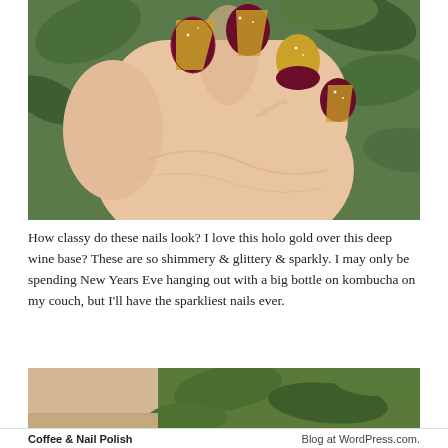[Figure (photo): Close-up photo of a hand with manicured nails painted in deep wine/burgundy polish with gold glitter holographic accent design, set against green foliage background.]
How classy do these nails look? I love this holo gold over this deep wine base? These are so shimmery & glittery & sparkly. I may only be spending New Years Eve hanging out with a big bottle on kombucha on my couch, but I'll have the sparkliest nails ever.
[Figure (photo): Partial photo showing green leafy plants with a light wooden or beige surface visible at the bottom left.]
Coffee & Nail Polish    Blog at WordPress.com.